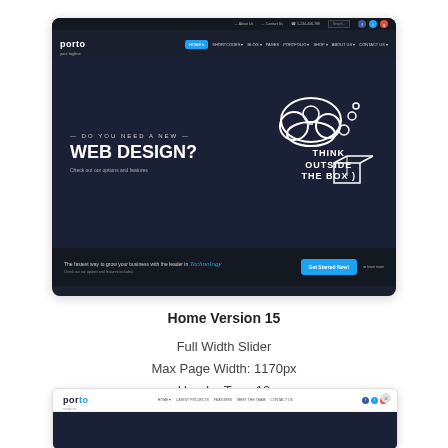[Figure (screenshot): Screenshot of Porto website template Home Version 15 showing dark themed website with navigation bar, hero section with WEB DESIGN? headline, think outside the box illustration, and Technology tagline with Get Started Now button]
Home Version 15
Full Width Slider
Max Page Width: 1170px
Header Type 10
[Figure (screenshot): Partial screenshot of Porto website template showing white navigation bar with Porto logo and dark hero section beginning]